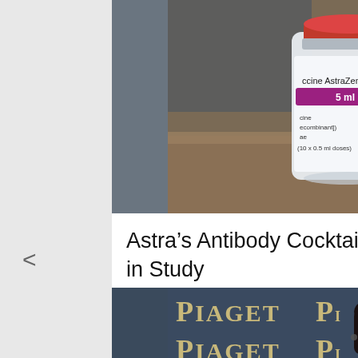[Figure (photo): Close-up photograph of an AstraZeneca vaccine vial (5ml, 10x0.5ml doses) with a syringe in the background on a wooden surface]
Astra’s Antibody Cocktail Fails to Stop Covid-19 in Study
[Figure (photo): Woman standing in front of Piaget branded backdrop/step-and-repeat banner at what appears to be a luxury event]